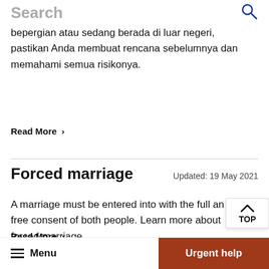Search
bepergian atau sedang berada di luar negeri, pastikan Anda membuat rencana sebelumnya dan memahami semua risikonya.
Read More >
Forced marriage
Updated: 19 May 2021
A marriage must be entered into with the full and free consent of both people. Learn more about forced marriage.
Read More >
Menu   Urgent help